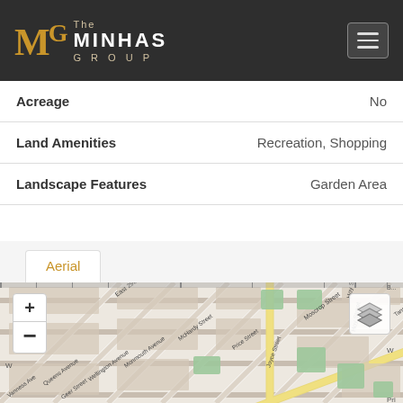[Figure (logo): The Minhas Group logo with golden M and hamburger menu on dark header]
| Property Feature | Value |
| --- | --- |
| Acreage | No |
| Land Amenities | Recreation, Shopping |
| Landscape Features | Garden Area |
Aerial
[Figure (map): Street map showing Vancouver area with East 29th Avenue, Tanner Street, Moscrop Street, Joyce Street, Manor Street, Rupert Street, Reid Street, McHardy Street, Monmouth Avenue, Wellington Avenue, Queens Avenue, Price Street, Hoy Street visible]